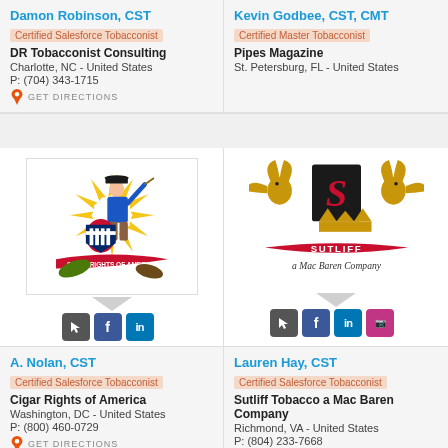Damon Robinson, CST
Certified Salesforce Tobacconist
DR Tobacconist Consulting
Charlotte, NC - United States
P: (704) 343-1715
GET DIRECTIONS
Kevin Godbee, CST, CMT
Certified Master Tobacconist
Pipes Magazine
St. Petersburg, FL - United States
[Figure (logo): Cigar Rights of America logo: colonial figure holding cigar, shield, banner]
[Figure (logo): Sutliff Tobacco a Mac Baren Company logo: golden eagle crest with S on black, red banner]
A. Nolan, CST
Certified Salesforce Tobacconist
Cigar Rights of America
Washington, DC - United States
P: (800) 460-0729
GET DIRECTIONS
Lauren Hay, CST
Certified Salesforce Tobacconist
Sutliff Tobacco a Mac Baren Company
Richmond, VA - United States
P: (804) 233-7668
GET DIRECTIONS